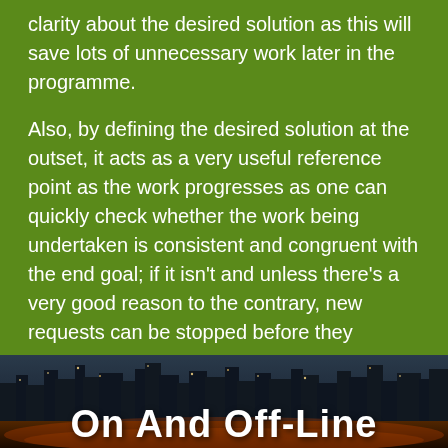clarity about the desired solution as this will save lots of unnecessary work later in the programme.
Also, by defining the desired solution at the outset, it acts as a very useful reference point as the work progresses as one can quickly check whether the work being undertaken is consistent and congruent with the end goal; if it isn't and unless there's a very good reason to the contrary, new requests can be stopped before they consume resource.
[Figure (photo): Night cityscape/skyline photo with city lights and dark sky, used as background for a chapter title overlay reading 'On And Off-Line']
On And Off-Line